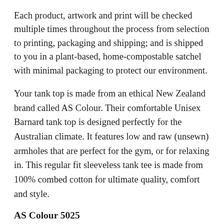Each product, artwork and print will be checked multiple times throughout the process from selection to printing, packaging and shipping; and is shipped to you in a plant-based, home-compostable satchel with minimal packaging to protect our environment.
Your tank top is made from an ethical New Zealand brand called AS Colour. Their comfortable Unisex Barnard tank top is designed perfectly for the Australian climate. It features low and raw (unsewn) armholes that are perfect for the gym, or for relaxing in. This regular fit sleeveless tank tee is made from 100% combed cotton for ultimate quality, comfort and style.
AS Colour 5025
100% combed ringspun cotton (fiber content may